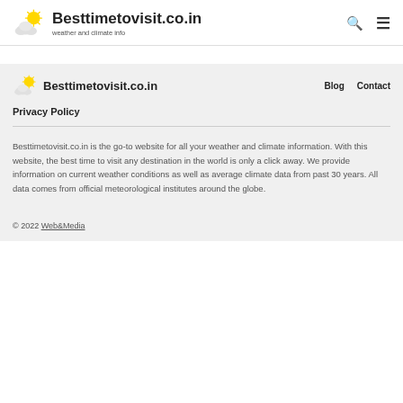Besttimetovisit.co.in — weather and climate info
Besttimetovisit.co.in
Privacy Policy
Besttimetovisit.co.in is the go-to website for all your weather and climate information. With this website, the best time to visit any destination in the world is only a click away. We provide information on current weather conditions as well as average climate data from past 30 years. All data comes from official meteorological institutes around the globe.
© 2022 Web&Media